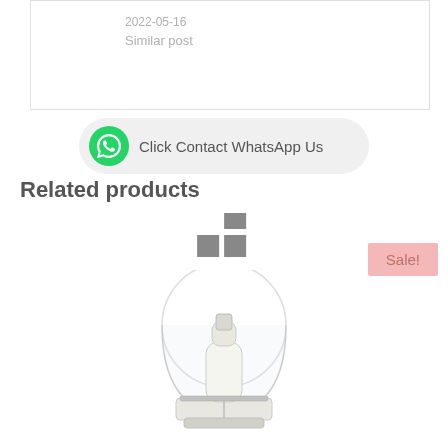2022-05-16
Similar post
[Figure (other): WhatsApp contact button with green phone icon and text 'Click Contact WhatsApp Us']
Related products
[Figure (other): Grid/layout icon with two rectangles]
[Figure (other): Sale! badge in pink]
[Figure (photo): Product image: a clear/transparent pump bottle cap with white dispenser pump inside, cosmetic product packaging]